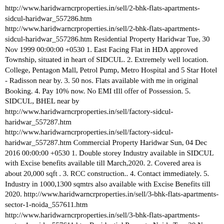http://www.haridwarncrproperties.in/sell/2-bhk-flats-apartments-sidcul-haridwar_557286.htm http://www.haridwarncrproperties.in/sell/2-bhk-flats-apartments-sidcul-haridwar_557286.htm Residential Property Haridwar Tue, 30 Nov 1999 00:00:00 +0530 1. East Facing Flat in HDA approved Township, situated in heart of SIDCUL. 2. Extremely well location. College, Pentagon Mall, Petrol Pump, Metro Hospital and 5 Star Hotel - Radisson near by. 3. 50 nos. Flats available with me in original Booking. 4. Pay 10% now. No EMI tIll offer of Possession. 5. SIDCUL, BHEL near by http://www.haridwarncrproperties.in/sell/factory-sidcul-haridwar_557287.htm http://www.haridwarncrproperties.in/sell/factory-sidcul-haridwar_557287.htm Commercial Property Haridwar Sun, 04 Dec 2016 00:00:00 +0530 1. Double storey Industry available in SIDCUL with Excise benefits available till March,2020. 2. Covered area is about 20,000 sqft . 3. RCC construction.. 4. Contact immediately. 5. Industry in 1000,1300 sqmtrs also available with Excise Benefits till 2020. http://www.haridwarncrproperties.in/sell/3-bhk-flats-apartments-sector-1-noida_557611.htm http://www.haridwarncrproperties.in/sell/3-bhk-flats-apartments-sector-1-noida_557611.htm Residential Property Noida Tue, 30 Nov 1999 00:00:00 +0530 1. 5 Acres Township under construction. 2. Possession with in 12 months. 3. All facilities providing in township. 4. about 100 Flats in hand for original booking. 5.